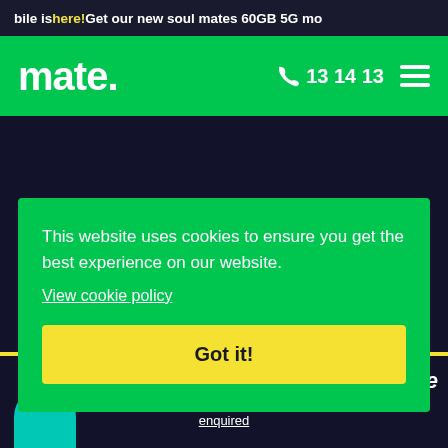bile is here! Get our new soul mates 60GB 5G mo
mate. 13 14 13
what is nbn supplied
This website uses cookies to ensure you get the best experience on our website.
View cookie policy
Got it!
ace
enquired